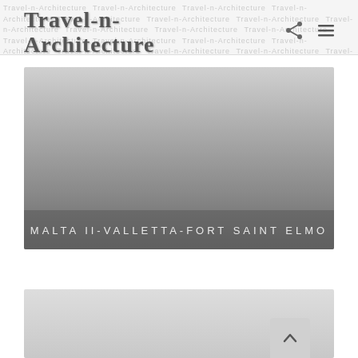Travel-n-Architecture — widen your foto-cultural mindglow
[Figure (photo): Hero image showing Malta II-Valletta-Fort Saint Elmo with gradient from light gray to dark gray, overlaid title bar at bottom]
MALTA II-VALLETTA-FORT SAINT ELMO
[Figure (photo): Bottom partial image visible, light gray, cropped at page bottom]